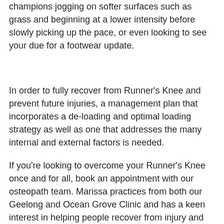champions jogging on softer surfaces such as grass and beginning at a lower intensity before slowly picking up the pace, or even looking to see your due for a footwear update.
In order to fully recover from Runner's Knee and prevent future injuries, a management plan that incorporates a de-loading and optimal loading strategy as well as one that addresses the many internal and external factors is needed.
If you're looking to overcome your Runner's Knee once and for all, book an appointment with our osteopath team. Marissa practices from both our Geelong and Ocean Grove Clinic and has a keen interest in helping people recover from injury and getting back to the form performing at their best